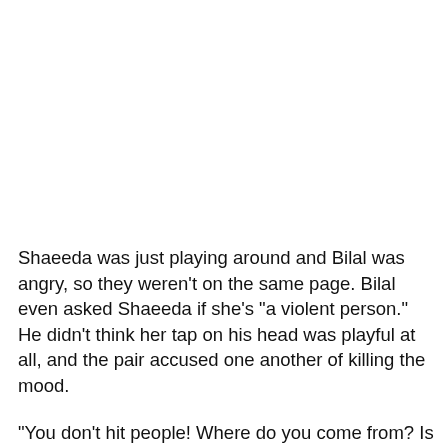Shaeeda was just playing around and Bilal was angry, so they weren't on the same page. Bilal even asked Shaeeda if she's "a violent person." He didn't think her tap on his head was playful at all, and the pair accused one another of killing the mood.
"You don't hit people! Where do you come from? Is that what y'all do in Trinidad?" Bilal asked. "You lose a lot of point. I'm thinking you're a violent person, and